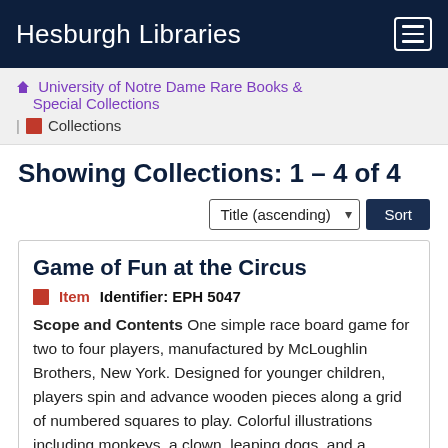Hesburgh Libraries
University of Notre Dame Rare Books & Special Collections | Collections
Showing Collections: 1 – 4 of 4
Title (ascending) Sort
Game of Fun at the Circus
Item   Identifier: EPH 5047
Scope and Contents One simple race board game for two to four players, manufactured by McLoughlin Brothers, New York. Designed for younger children, players spin and advance wooden pieces along a grid of numbered squares to play. Colorful illustrations including monkeys, a clown, leaping dogs, and a tightrope walker denote squares that offer advancement or